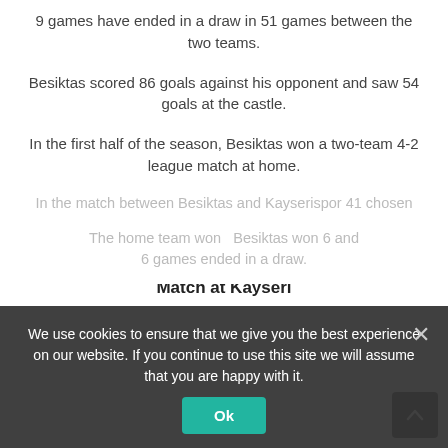9 games have ended in a draw in 51 games between the two teams.
Besiktas scored 86 goals against his opponent and saw 54 goals at the castle.
In the first half of the season, Besiktas won a two-team 4-2 league match at home.
While the two teams faced each other again in the Zyrat Turkey Cup quarterfinals, Yucatel Kayserispor defeated their opponents 2-1 and marked them in the semifinals.
Match at Kayseri
In the match between Besiktas and Kayserispor 41 chosen
We use cookies to ensure that we give you the best experience on our website. If you continue to use this site we will assume that you are happy with it.
The home team won Besiktas won 6 and 6 games ended in a draw.